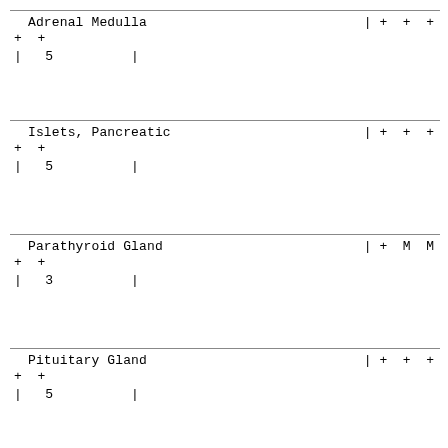| Adrenal Medulla | | + + + |
| + + |  |
| | 5          | |  |
| Islets, Pancreatic | | + + + |
| + + |  |
| | 5          | |  |
| Parathyroid Gland | | +  M  M |
| + + |  |
| | 3          | |  |
| Pituitary Gland | | + + + |
| + + |  |
| | 5          | |  |